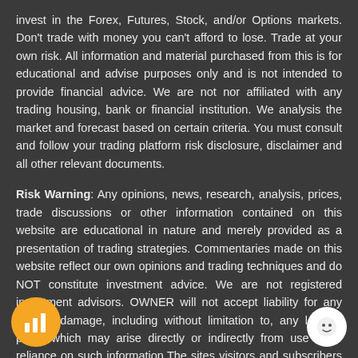invest in the Forex, Futures, Stock, and/or Options markets. Don't trade with money you can't afford to lose. Trade at your own risk. All information and material purchased from this is for educational and advise purposes only and is not intended to provide financial advice. We are not nor affiliated with any trading housing, bank or financial institution. We analysis the market and forecast based on certain criteria. You must consult and follow your trading platform risk disclosure, disclaimer and all other relevant documents.
Risk Warning: Any opinions, news, research, analysis, prices, trade discussions or other information contained on this website are educational in nature and merely provided as a presentation of trading strategies. Commentaries made on this website reflect our own opinions and trading techniques and do NOT constitute investment advice. We are not registered investment advisors. OWNER will not accept liability for any loss or damage, including without limitation to, any loss of profit, which may arise directly or indirectly from use of or reliance on such information.The sites visitors and subscribers access to information contained in this web site is on the condition that errors or omissions shall not be made the basis for any claim, demand, or cause of action against OWNER or anyone affiliated therewith.Forex, Futures, Margined trading have large potential rewards, but also large potential risks. You must be aware of the risks and be willing to accept them in order to